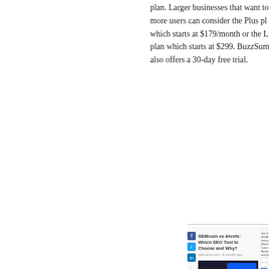plan. Larger businesses that want more users can consider the Plus plan, which starts at $179/month or the L plan which starts at $299. BuzzSumo also offers a 30-day free trial.
[Figure (screenshot): Screenshot of a webpage showing 'SEMrush vs Ahrefs: Which SEO Tool to Choose and Why?' article with social share buttons and a thumbnail image of SEMrush and Ahrefs logos side by side, plus a sidebar with newsletter signup and Categories section.]
SEMrush vs Ahrefs: Which SEO Tool to Choose and Why? - Relevance. The dashboard choice depends on your personal preference. One thing to note here is: SEMrush allows you to start your research quicker through immediate access to the dashboard. On the other hand, Ahrefs demands a little bit of configuration at first. Related